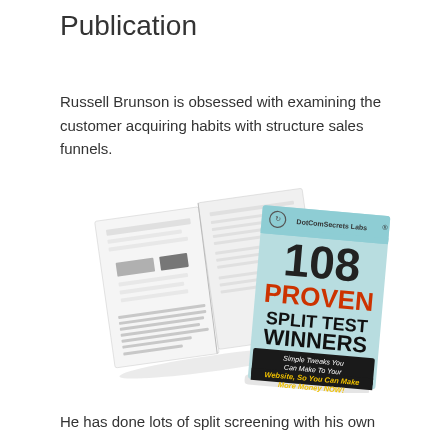Publication
Russell Brunson is obsessed with examining the customer acquiring habits with structure sales funnels.
[Figure (illustration): Open book/magazine with pages visible on the left, and a book cover on the right reading '108 PROVEN SPLIT TEST WINNERS - Simple Tweaks You Can Make To Your Website, So You Can Make More Money NOW!' by DotComSecrets Labs]
He has done lots of split screening with his own